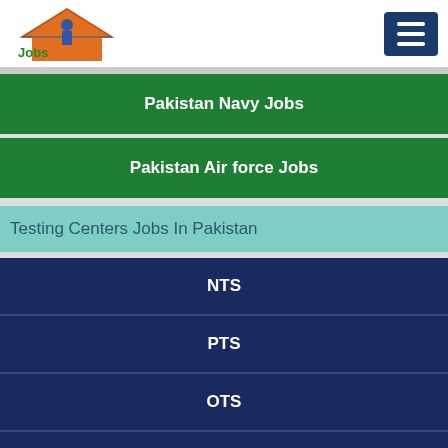[Figure (logo): Jobs Hut logo with house and worker icon, text 'Jobs Hut' in green and orange]
Pakistan Navy Jobs
Pakistan Air force Jobs
Testing Centers Jobs In Pakistan
NTS
PTS
OTS
CTS
ETS